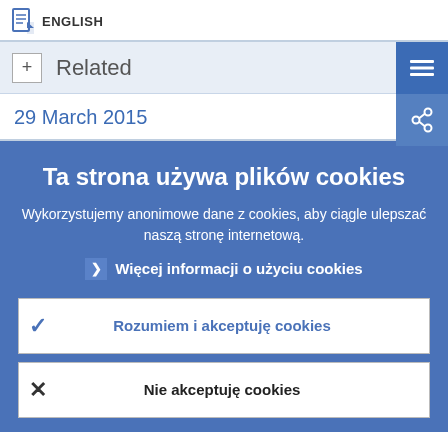ENGLISH
Related
29 March 2015
Ta strona używa plików cookies
Wykorzystujemy anonimowe dane z cookies, aby ciągle ulepszać naszą stronę internetową.
Więcej informacji o użyciu cookies
Rozumiem i akceptuję cookies
Nie akceptuję cookies